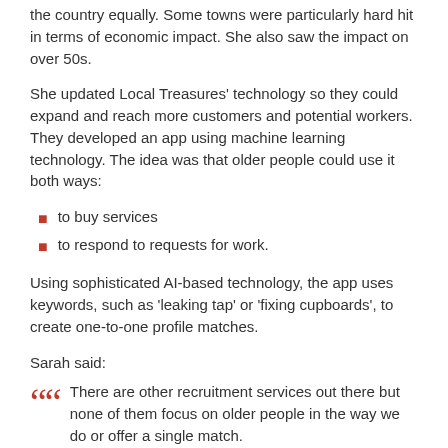the country equally. Some towns were particularly hard hit in terms of economic impact. She also saw the impact on over 50s.
She updated Local Treasures' technology so they could expand and reach more customers and potential workers. They developed an app using machine learning technology. The idea was that older people could use it both ways:
to buy services
to respond to requests for work.
Using sophisticated AI-based technology, the app uses keywords, such as 'leaking tap' or 'fixing cupboards', to create one-to-one profile matches.
Sarah said:
There are other recruitment services out there but none of them focus on older people in the way we do or offer a single match.

We can also use this technology to track customer numbers, jobs taken on and money earned.